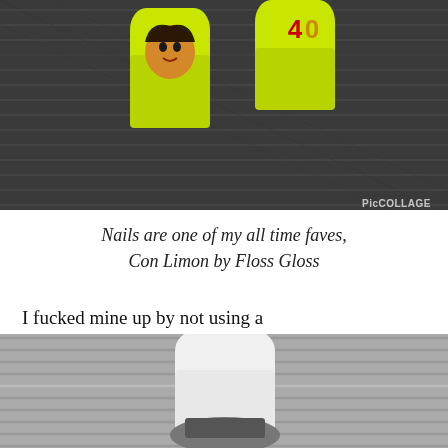[Figure (photo): Close-up photo of neon yellow-green fingernails with designs painted on them, including a face and the number 40, against a dark textured background. Watermark reads PicCOLLAGE.]
Nails are one of my all time faves, Con Limon by Floss Gloss
I fucked mine up by not using a lighter polish underneath them. As a result, Bey looks a little jaundiced. Jayndiced? Haha. Get it? Bey-Z looks better here:
[Figure (photo): Black and white photo of fingernails against a textured background.]